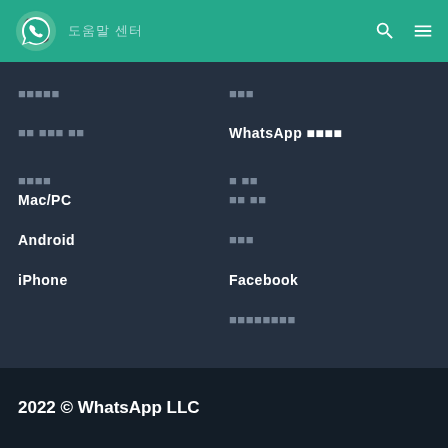도움말 센터 (WhatsApp logo header)
■■■■■
■■■
■■ ■■■ ■■
WhatsApp 다운로드
■■■■
■ ■■
Mac/PC
■■ ■■
Android
■■■
iPhone
Facebook
■■■■■■■■
2022 © WhatsApp LLC